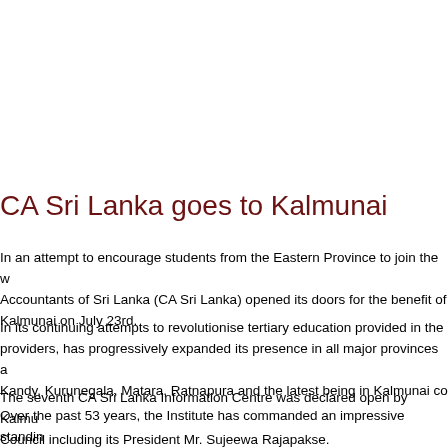CA Sri Lanka goes to Kalmunai
In an attempt to encourage students from the Eastern Province to join the w... Accountants of Sri Lanka (CA Sri Lanka) opened its doors for the benefit of... Kalmunai on July 23rd.
In its continuing attempts to revolutionise tertiary education provided in the... providers, has progressively expanded its presence in all major provinces a... Kandy, Kurunegala, Matara, Ratnapura and the latest being in Kalmunai co...
The seventh CA Sri Lanka Information Centre was declared open by Kalmu... Council including its President Mr. Sujeewa Rajapakse.
Over the past 53 years, the Institute has commanded an impressive standi... Lanka, apart from being one of the largest professional organisations with 4...
Speaking at the event, Mr. Rajapakse underscored that the opening of the s... Chinthanaya vision of President Mahinda Rajapaksa in ensuring that Sri La...